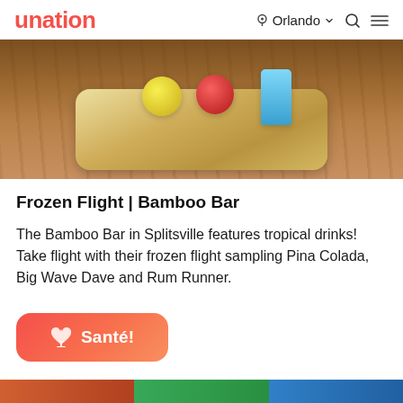unation | Orlando
[Figure (photo): Photo of a wooden tray holding frozen drink samplers — a yellow drink, a red frozen drink, and a blue tropical drink — placed on a striped wooden table surface.]
Frozen Flight | Bamboo Bar
The Bamboo Bar in Splitsville features tropical drinks! Take flight with their frozen flight sampling Pina Colada, Big Wave Dave and Rum Runner.
Santé!